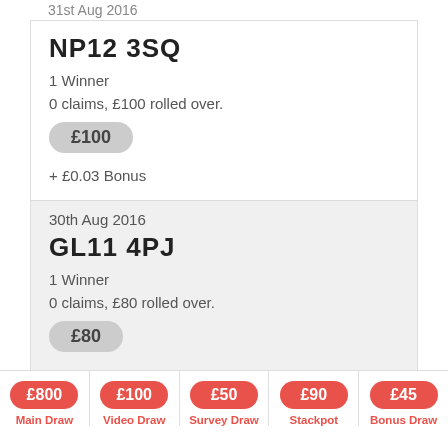31st Aug 2016
NP12 3SQ
1 Winner
0 claims, £100 rolled over.
£100
+ £0.03 Bonus
30th Aug 2016
GL11 4PJ
1 Winner
0 claims, £80 rolled over.
£80
+ £11.80 Bonus
£800 Main Draw
£100 Video Draw
£50 Survey Draw
£90 Stackpot
£45 Bonus Draw